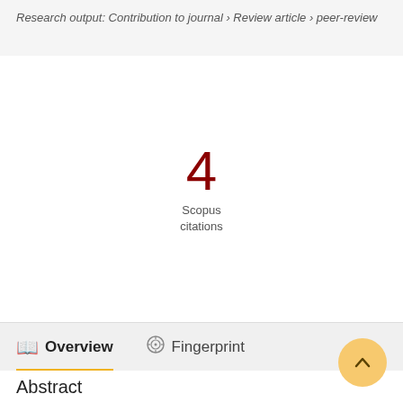Research output: Contribution to journal › Review article › peer-review
4
Scopus
citations
Overview
Fingerprint
Abstract